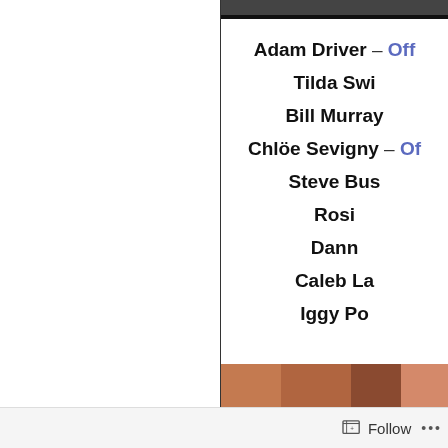[Figure (photo): Partial top image, dark background, cropped at top]
Adam Driver – Off...
Tilda Swi...
Bill Murray
Chlöe Sevigny – Of...
Steve Bus...
Rosi...
Dann...
Caleb La...
Iggy Po...
[Figure (photo): Bottom strip showing multiple faces/people in brownish tones]
Follow ...